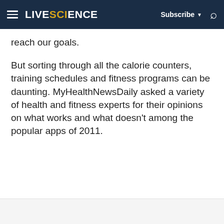LIVESCIENCE — Subscribe — Search
reach our goals.
But sorting through all the calorie counters, training schedules and fitness programs can be daunting. MyHealthNewsDaily asked a variety of health and fitness experts for their opinions on what works and what doesn't among the popular apps of 2011.